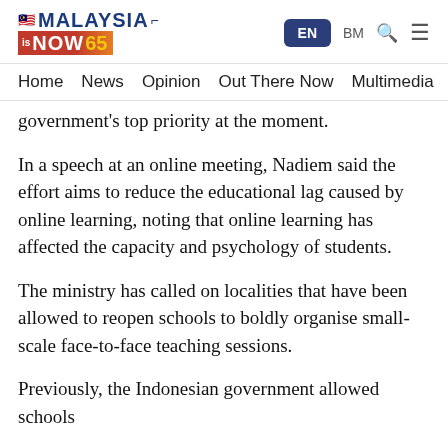MALAYSIA is NOW 65 | EN | BM
Home   News   Opinion   Out There Now   Multimedia
government's top priority at the moment.
In a speech at an online meeting, Nadiem said the effort aims to reduce the educational lag caused by online learning, noting that online learning has affected the capacity and psychology of students.
The ministry has called on localities that have been allowed to reopen schools to boldly organise small-scale face-to-face teaching sessions.
Previously, the Indonesian government allowed schools